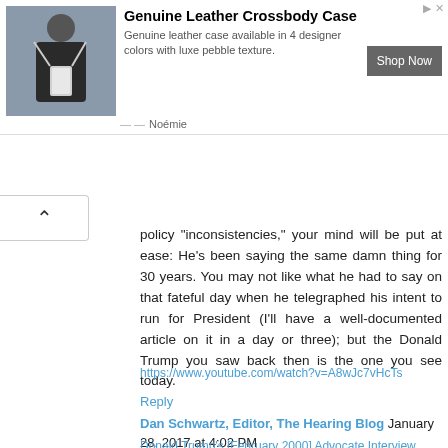[Figure (infographic): Advertisement banner: photo of woman wearing black outfit with white crossbody leather case, ad text 'Genuine Leather Crossbody Case', description 'Genuine leather case available in 4 designer colors with luxe pebble texture.', Shop Now button, Noémie brand name.]
policy "inconsistencies," your mind will be put at ease: He's been saying the same damn thing for 30 years. You may not like what he had to say on that fateful day when he telegraphed his intent to run for President (I'll have a well-documented article on it in a day or three); but the Donald Trump you saw back then is the one you see today.
https://www.youtube.com/watch?v=A8wJc7vHcTs
Reply
Dan Schwartz, Editor, The Hearing Blog  January 28, 2017 at 4:02 PM
Donald Trump's [February 2000] Advocate Interview Where He Defends Gays, Mexicans
[NOTE: A] This one real statement, months before he published his...